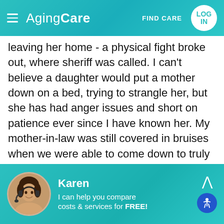AgingCare — FIND CARE — LOG IN
leaving her home - a physical fight broke out, where sheriff was called. I can't believe a daughter would put a mother down on a bed, trying to strangle her, but she has had anger issues and short on patience ever since I have known her. My mother-in-law was still covered in bruises when we were able to come down to truly evaluate the situation a month later. My husband was able to convince my mother-in-law to come home with us (Florida to Ohio) for a "summer visit" he says. Yes, a trick, but there was no other way. After getting her back home with us,
Karen — I can help you compare costs & services for FREE!